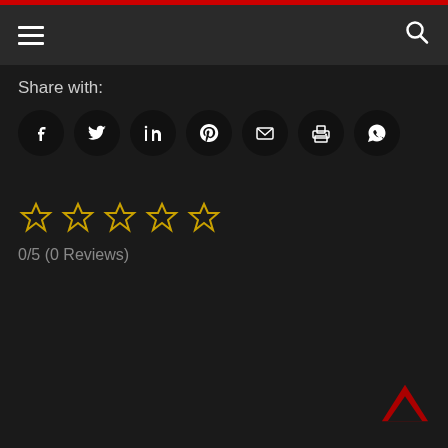Navigation bar with hamburger menu and search icon
Share with:
[Figure (infographic): Row of 7 social share icon buttons (Facebook, Twitter, LinkedIn, Pinterest, Email, Print, WhatsApp) as white icons on black circular backgrounds]
[Figure (infographic): 5 empty gold/yellow star rating icons]
0/5 (0 Reviews)
[Figure (infographic): Red upward chevron/caret back-to-top button in bottom right corner]